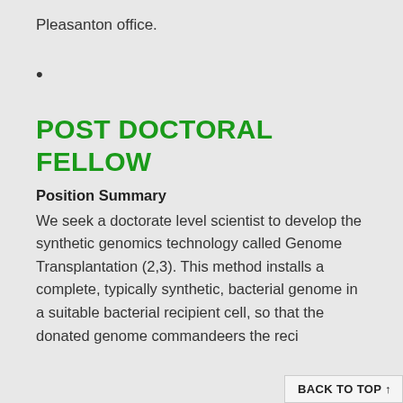Pleasanton office.
POST DOCTORAL FELLOW
Position Summary
We seek a doctorate level scientist to develop the synthetic genomics technology called Genome Transplantation (2,3). This method installs a complete, typically synthetic, bacterial genome in a suitable bacterial recipient cell, so that the donated genome commandeers the reci
BACK TO TOP ↑